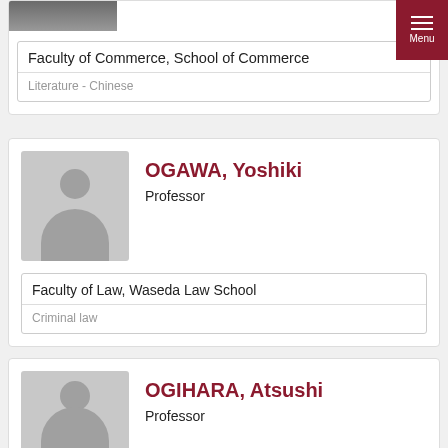[Figure (photo): Partial faculty profile photo at top, cropped]
Faculty of Commerce, School of Commerce
Literature - Chinese
[Figure (photo): Default gray silhouette avatar for OGAWA, Yoshiki]
OGAWA, Yoshiki
Professor
Faculty of Law, Waseda Law School
Criminal law
[Figure (photo): Default gray silhouette avatar for OGIHARA, Atsushi]
OGIHARA, Atsushi
Professor